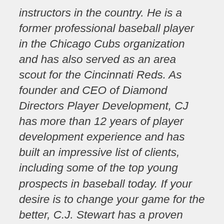instructors in the country. He is a former professional baseball player in the Chicago Cubs organization and has also served as an area scout for the Cincinnati Reds. As founder and CEO of Diamond Directors Player Development, CJ has more than 12 years of player development experience and has built an impressive list of clients, including some of the top young prospects in baseball today. If your desire is to change your game for the better, C.J. Stewart has a proven system of development and track record of success that can work for you.